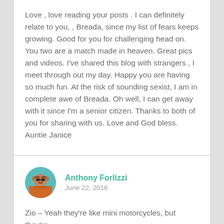Love , love reading your posts . I can definitely relate to you, , Breada, since my list of fears keeps growing. Good for you for challenging head on. You two are a match made in heaven. Great pics and videos. I've shared this blog with strangers , I meet through out my day. Happy you are having so much fun. At the risk of sounding sexist, I am in complete awe of Breada. Oh well, I can get away with it since I'm a senior citizen. Thanks to both of you for sharing with us. Love and God bless.
Auntie Janice
Anthony Forlizzi
June 22, 2016
Zio – Yeah they're like mini motorcycles, but they're